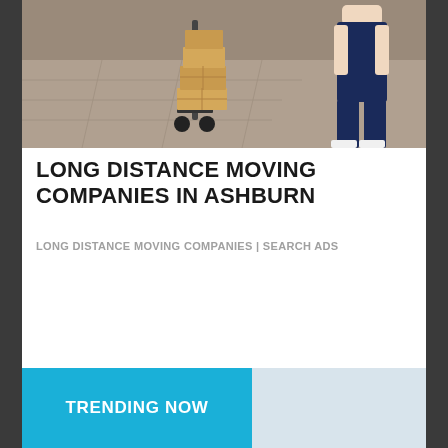[Figure (photo): Aerial/overhead view of movers stacking cardboard boxes, person in dark work clothing visible on right side of image]
LONG DISTANCE MOVING COMPANIES IN ASHBURN
LONG DISTANCE MOVING COMPANIES | SEARCH ADS
TRENDING NOW